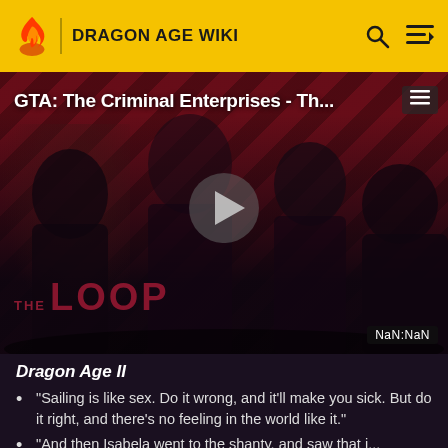DRAGON AGE WIKI
[Figure (screenshot): Video player showing 'GTA: The Criminal Enterprises - Th...' with The Loop branding, characters silhouetted in foreground, play button in center, NaN:NaN timestamp]
Dragon Age II
"Sailing is like sex. Do it wrong, and it'll make you sick. But do it right, and there's no feeling in the world like it."
"And then Isabela went to the shanty, and saw that i..."